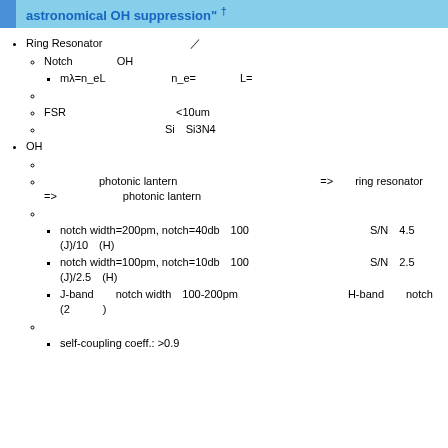astronomical OH suppression" †
Ring Resonator□□□□□□□□□□□□□□□□□□□/□□□□
Notch□□□□□□OH□□□□□□□□
mλ=n_eL□□□□□□□□□□n_e=□□□□□□L=□□□□□□
□□□□□□□□□□□□□□
FSR□□□□□□□□□□□□□□□<10um□□□
□□□□□□□□□□□□□□□Si□Si3N4
OH□□□□□□□□□
□□□□□□□□□□□□□
□□□□□□□□photonic lantern□□□□□□□□□□□□□□□□□□=>□□□ring resonator□□□□=>□□□□□□□□□□photonic lantern□□□□□□□□□□□□□□□□□□□□□□□□
□□□□□□□□□□□□□
notch width=200pm, notch=40db□100□□□□□□□□□□□□□□S/N□4.5□(J)/10□(H)□□□
notch width=100pm, notch=10db□100□□□□□□□□□□□□□□S/N□2.5□(J)/2.5□(H)□□□
J-band□□notch width□100-200pm□□□□□□□□□□□□□□□□H-band□□notch□□□□□□□□□□□□□(2□□□)
□□□
self-coupling coeff.: >0.9 □□